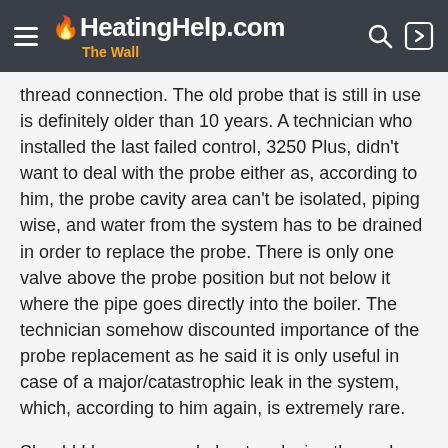HeatingHelp.com The Wall
thread connection. The old probe that is still in use is definitely older than 10 years. A technician who installed the last failed control, 3250 Plus, didn't want to deal with the probe either as, according to him, the probe cavity area can't be isolated, piping wise, and water from the system has to be drained in order to replace the probe. There is only one valve above the probe position but not below it where the pipe goes directly into the boiler. The technician somehow discounted importance of the probe replacement as he said it is only useful in case of a major/catastrophic leak in the system, which, according to him again, is extremely rare.
Should I be concerned about replacing the probe as it is older than 10 year old? Perhaps, 15+. The sensor